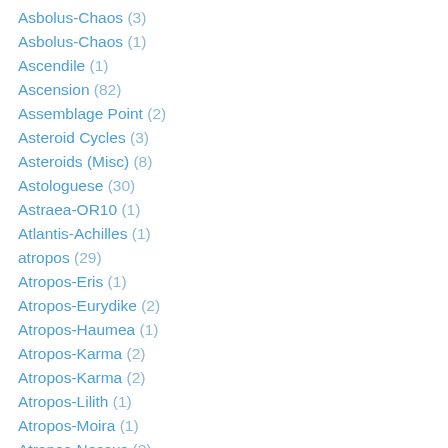Asbolus-Chaos (3)
Asbolus-Chaos (1)
Ascendile (1)
Ascension (82)
Assemblage Point (2)
Asteroid Cycles (3)
Asteroids (Misc) (8)
Astologuese (30)
Astraea-OR10 (1)
Atlantis-Achilles (1)
atropos (29)
Atropos-Eris (1)
Atropos-Eurydike (2)
Atropos-Haumea (1)
Atropos-Karma (2)
Atropos-Karma (2)
Atropos-Lilith (1)
Atropos-Moira (1)
Atropos-Nessus (2)
Atropos-Orcus (2)